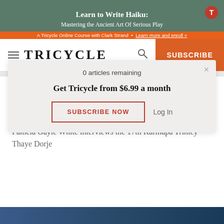[Figure (other): Advertisement banner for 'Learn to Write Haiku: Mastering the Ancient Art Of Serious Play' — a Tricycle Online Course with Clark Strand, with orange bar at bottom linking to learn more and enroll.]
TRICYCLE
MAGAZINE | INTERVIEW
Diamond-like Resolve
Pamela Gayle White interviews the 17th Karmapa Trinley Thaye Dorje
0 articles remaining
Get Tricycle from $6.99 a month
SUBSCRIBE NOW
Log In